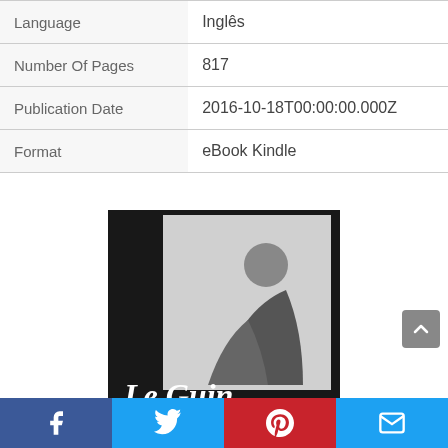|  |  |
| --- | --- |
| Language | Inglês |
| Number Of Pages | 817 |
| Publication Date | 2016-10-18T00:00:00.000Z |
| Format | eBook Kindle |
[Figure (photo): Book cover for Le Guin Library of America edition — black and white photo of Ursula K. Le Guin seated, with stylized 'Le Guin' script text overlaid on a dark background with a red stripe at bottom.]